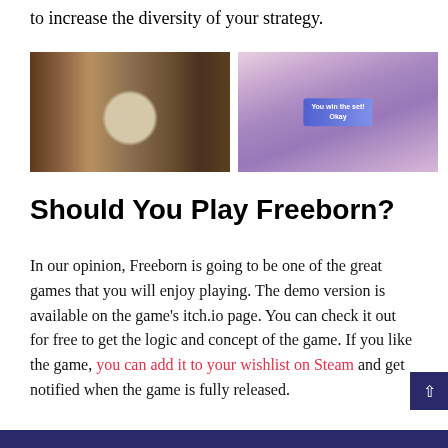to increase the diversity of your strategy.
[Figure (screenshot): Two side-by-side screenshots of the Freeborn game. Left: an isometric overhead view of a casino/building interior with green trees and decorative flooring. Right: a card game interface showing 'You win the set! Okay' banner with player cards arranged in a grid.]
Should You Play Freeborn?
In our opinion, Freeborn is going to be one of the great games that you will enjoy playing. The demo version is available on the game's itch.io page. You can check it out for free to get the logic and concept of the game. If you like the game, you can add it to your wishlist on Steam and get notified when the game is fully released.